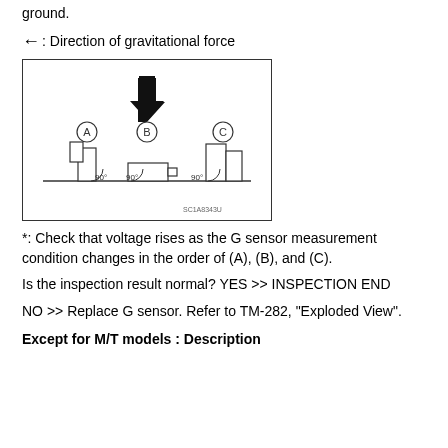ground.
←: Direction of gravitational force
[Figure (schematic): Engineering diagram showing three positions (A), (B), (C) of a G sensor. A downward arrow indicates gravitational force direction. Position A shows the sensor upright, B shows it rotated 90° (horizontal), and C shows it in another 90° orientation. A label SC1A8343U appears at the bottom right of the diagram.]
*: Check that voltage rises as the G sensor measurement condition changes in the order of (A), (B), and (C).
Is the inspection result normal? YES >> INSPECTION END
NO >> Replace G sensor. Refer to TM-282, "Exploded View".
Except for M/T models : Description